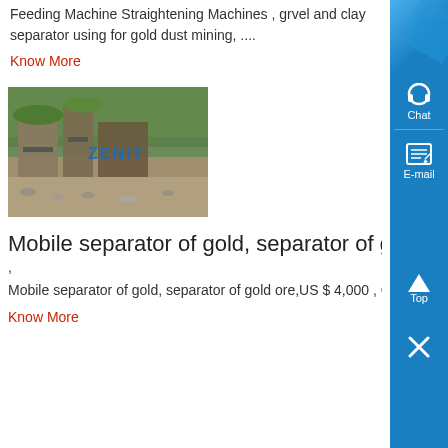Feeding Machine Straightening Machines , grvel and clay separator using for gold dust mining, ....
Know More
[Figure (photo): Outdoor mining site with machines and ZENIT logo watermark]
Mobile separator of gold, separator of gold ore, V...
,
Mobile separator of gold, separator of gold ore,US $ 4,000 , Chi... supplier mobile screen river gold washing machine trommel , mobile gold dust separator machine ....
Know More